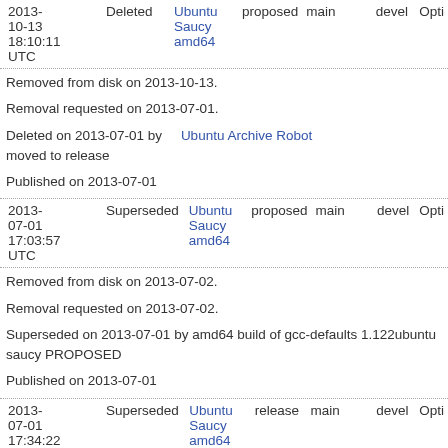| Date | Status | Package | Pocket | Component |  | Series | Options |
| --- | --- | --- | --- | --- | --- | --- | --- |
| 2013-10-13 18:10:11 UTC | Deleted | Ubuntu Saucy amd64 | proposed | main |  | devel | Opti |
| 2013-07-01 17:03:57 UTC | Superseded | Ubuntu Saucy amd64 | proposed | main |  | devel | Opti |
| 2013-07-01 17:34:22 UTC | Superseded | Ubuntu Saucy amd64 | release | main |  | devel | Opti |
Removed from disk on 2013-10-13.
Removal requested on 2013-07-01.
Deleted on 2013-07-01 by    Ubuntu Archive Robot moved to release
Published on 2013-07-01
Removed from disk on 2013-07-02.
Removal requested on 2013-07-02.
Superseded on 2013-07-01 by amd64 build of gcc-defaults 1.122ubuntu saucy PROPOSED
Published on 2013-07-01